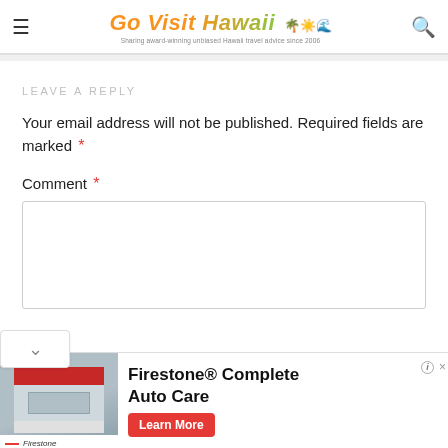Go Visit Hawaii — Sharing award-winning unbiased Hawaii travel advice since 2006
LEAVE A REPLY
Your email address will not be published. Required fields are marked *
Comment *
[Figure (screenshot): Empty comment text area input box]
[Figure (infographic): Firestone Complete Auto Care advertisement with store image and Learn More button]